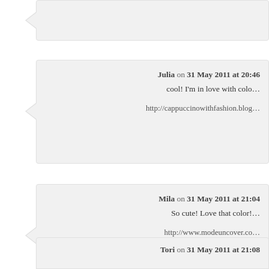[partial comment block at top]
Julia on 31 May 2011 at 20:46
cool! I'm in love with colo…
http://cappuccinowithfashion.blog…
Mila on 31 May 2011 at 21:04
So cute! Love that color!…
http://www.modeuncover.co…
Tori on 31 May 2011 at 21:08